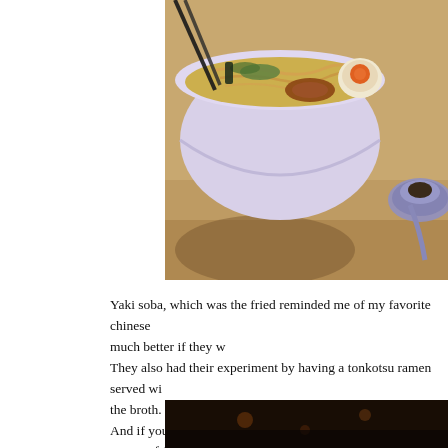[Figure (photo): A bowl of ramen/tonkotsu soup with noodles, toppings including a soft-boiled egg with orange yolk, on a wooden table. Chopsticks visible at top left. A blue ceramic spoon rests on a small saucer to the right.]
Yaki soba, which was the fried reminded me of my favorite chinese much better if they w They also had their experiment by having a tonkotsu ramen served wi the broth. I would not mind having this, but t And if you catch those 3 sinful cuts of pork bellies on the corner of t enjo
[Figure (photo): Dark restaurant interior, dimly lit scene.]